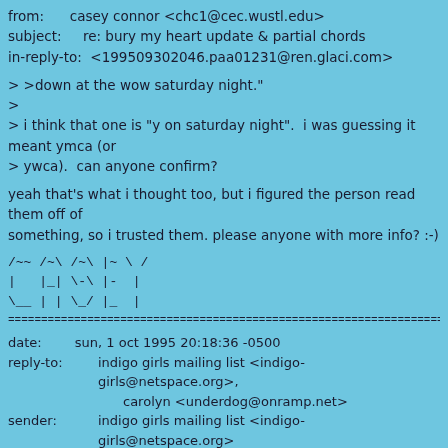from:      casey connor <chc1@cec.wustl.edu>
subject:     re: bury my heart update & partial chords
in-reply-to:  <199509302046.paa01231@ren.glaci.com>
> >down at the wow saturday night."
>
> i think that one is "y on saturday night".  i was guessing it meant ymca (or
> ywca).  can anyone confirm?
yeah that's what i thought too, but i figured the person read them off of
something, so i trusted them. please anyone with more info? :-)
/~~ /~\ /~\ |~ \ /
|   |_|  \-\ |-  |
\__ | | \_/ |_  |
==============================================================
date:       sun, 1 oct 1995 20:18:36 -0500
reply-to:              indigo girls mailing list <indigo-girls@netspace.org>,
              carolyn <underdog@onramp.net>
sender:      indigo girls mailing list <indigo-girls@netspace.org>
from:   carolyn <underdog@onramp.net>